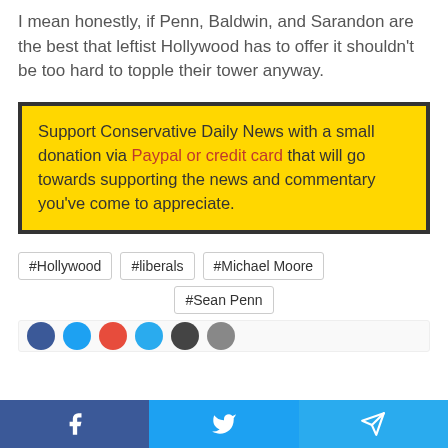I mean honestly, if Penn, Baldwin, and Sarandon are the best that leftist Hollywood has to offer it shouldn't be too hard to topple their tower anyway.
Support Conservative Daily News with a small donation via Paypal or credit card that will go towards supporting the news and commentary you've come to appreciate.
#Hollywood
#liberals
#Michael Moore
#Sean Penn
[Figure (screenshot): Social share buttons row (partial) and bottom navigation bar with Facebook, Twitter, Telegram buttons]